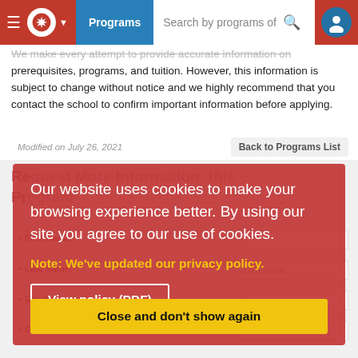Programs  Search by programs of
We make every attempt to provide accurate information on prerequisites, programs, and tuition. However, this information is subject to change without notice and we highly recommend that you contact the school to confirm important information before applying.
Modified on July 26, 2021
Back to Programs List
Request More Information: this Program
Our website uses cookies to make your browsing experience better. By using our site you agree to our use of cookies.
Note: We've updated our privacy policy.
View policy (PDF)
* First Name:
* Last Name:
* Email:
* Date of Birth:
Close and don't show again